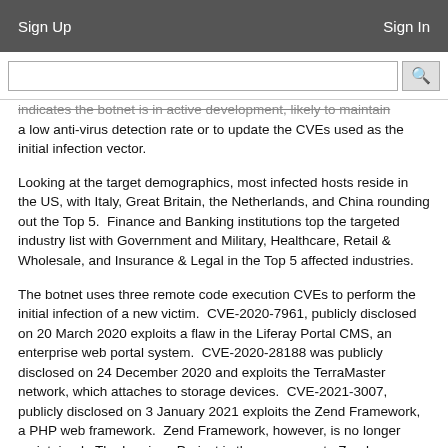Sign Up   Sign In
indicates the botnet is in active development, likely to maintain a low anti-virus detection rate or to update the CVEs used as the initial infection vector.
Looking at the target demographics, most infected hosts reside in the US, with Italy, Great Britain, the Netherlands, and China rounding out the Top 5.  Finance and Banking institutions top the targeted industry list with Government and Military, Healthcare, Retail & Wholesale, and Insurance & Legal in the Top 5 affected industries.
The botnet uses three remote code execution CVEs to perform the initial infection of a new victim.  CVE-2020-7961, publicly disclosed on 20 March 2020 exploits a flaw in the Liferay Portal CMS, an enterprise web portal system.  CVE-2020-28188 was publicly disclosed on 24 December 2020 and exploits the TerraMaster network, which attaches to storage devices.  CVE-2021-3007, publicly disclosed on 3 January 2021 exploits the Zend Framework, a PHP web framework.  Zend Framework, however, is no longer maintained.  The Laminas Project is the successor to Zend Framework and has a patch available.  If one of these vulnerabilities is successfully